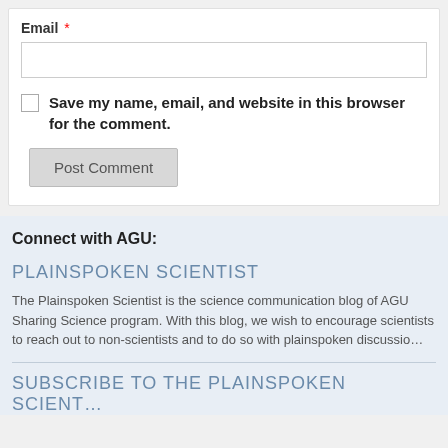Email *
Save my name, email, and website in this browser for the comment.
Post Comment
Connect with AGU:
PLAINSPOKEN SCIENTIST
The Plainspoken Scientist is the science communication blog of AGU Sharing Science program. With this blog, we wish to encourage scientists to reach out to non-scientists and to do so with plainspoken discussion
SUBSCRIBE TO THE PLAINSPOKEN SCIENTIST